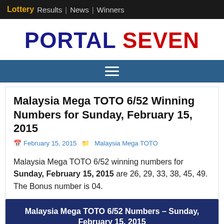Lottery Results | News | Winners
PORTAL SEVEN
Malaysia Mega TOTO 6/52 Winning Numbers for Sunday, February 15, 2015
February 15, 2015   Malaysia Mega TOTO
Malaysia Mega TOTO 6/52 winning numbers for Sunday, February 15, 2015 are 26, 29, 33, 38, 45, 49. The Bonus number is 04.
Malaysia Mega TOTO 6/52 Numbers – Sunday, February 15, 2015